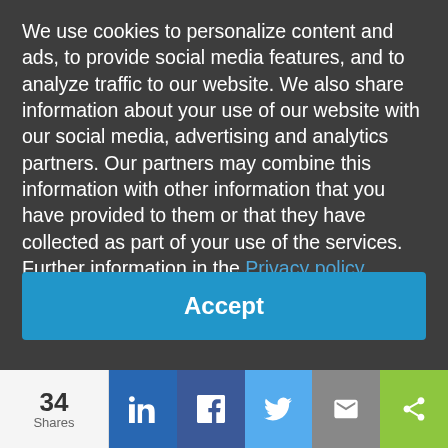We use cookies to personalize content and ads, to provide social media features, and to analyze traffic to our website. We also share information about your use of our website with our social media, advertising and analytics partners. Our partners may combine this information with other information that you have provided to them or that they have collected as part of your use of the services. Further information in the Privacy policy.
Accept
34 Shares